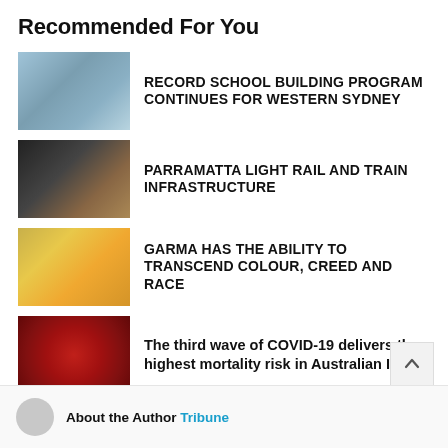Recommended For You
RECORD SCHOOL BUILDING PROGRAM CONTINUES FOR WESTERN SYDNEY
PARRAMATTA LIGHT RAIL AND TRAIN INFRASTRUCTURE
GARMA HAS THE ABILITY TO TRANSCEND COLOUR, CREED AND RACE
The third wave of COVID-19 delivers the highest mortality risk in Australian ICUs
About the Author Tribune